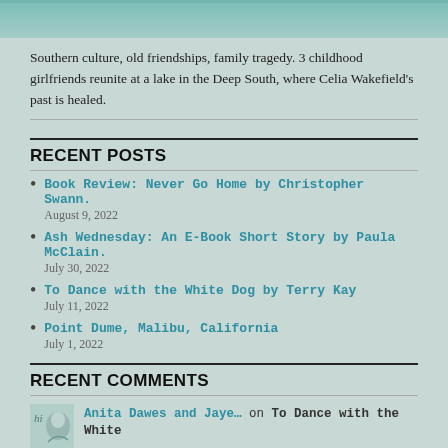[Figure (photo): Partial view of a teal/green book cover image at the top of the page]
Southern culture, old friendships, family tragedy. 3 childhood girlfriends reunite at a lake in the Deep South, where Celia Wakefield's past is healed.
RECENT POSTS
Book Review: Never Go Home by Christopher Swann.
August 9, 2022
Ash Wednesday: An E-Book Short Story by Paula McClain.
July 30, 2022
To Dance with the White Dog by Terry Kay
July 11, 2022
Point Dume, Malibu, California
July 1, 2022
RECENT COMMENTS
Anita Dawes and Jaye… on To Dance with the White